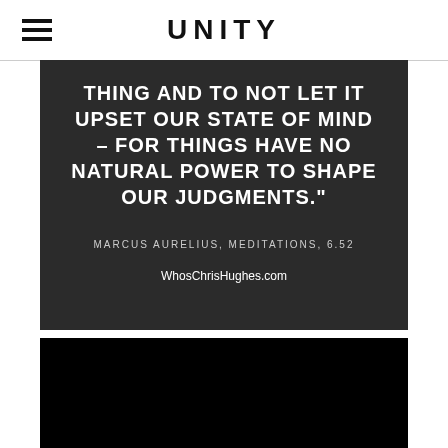UNITY
[Figure (illustration): Dark textured background image with white bold uppercase text quote: 'THING AND TO NOT LET IT UPSET OUR STATE OF MIND – FOR THINGS HAVE NO NATURAL POWER TO SHAPE OUR JUDGMENTS.' Attribution: MARCUS AURELIUS, MEDITATIONS, 6.52. Website: WhosChrisHughes.com]
[Figure (photo): Solid black rectangular image at bottom of page]